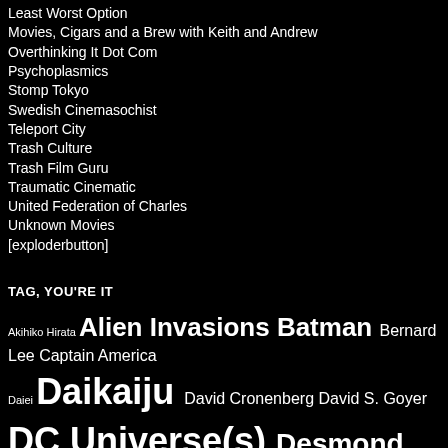Least Worst Option
Movies, Cigars and a Brew with Keith and Andrew
Overthinking It Dot Com
Psychoplasmics
Stomp Tokyo
Swedish Cinemasochist
Teleport City
Trash Culture
Trash Film Guru
Traumatic Cinematic
United Federation of Charles
Unknown Movies
[exploderbutton]
TAG, YOU'RE IT
Akihiko Hirata  Alien Invasions  Batman  Bernard Lee  Captain America  Daiei  Daikaiju  David Cronenberg  David S. Goyer  DC Universe(s)  Desmond Llewelyn  Dr. Who  Eiji Tsuburaya  Friday the 13th  Gamera  Godzilla  Halle Berry  Halloween  Haruo Nakajima  Ichiro Honda  Lol Rendelon  Toshi Kein  Sonoshift Pl